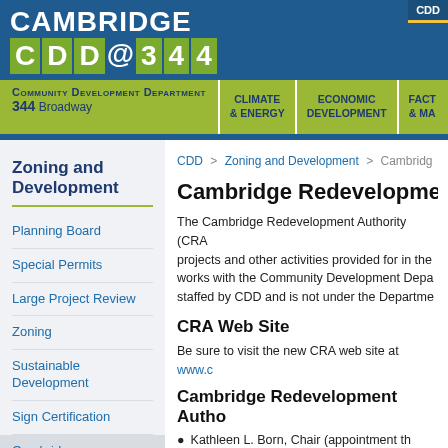CAMBRIDGE CDD@344 — Community Development Department 344 Broadway | CLIMATE & ENERGY | ECONOMIC DEVELOPMENT | FACT & MA
Zoning and Development
Planning Board
Special Permits
Large Project Review
Zoning
Sustainable Development
Sign Certification
Cambridge Redevelopment...
CDD > Zoning and Development > Cambrid
Cambridge Redevelopmen
The Cambridge Redevelopment Authority (CRA projects and other activities provided for in the works with the Community Development Depa staffed by CDD and is not under the Departme
CRA Web Site
Be sure to visit the new CRA web site at www.c
Cambridge Redevelopment Autho
Kathleen L. Born, Chair (appointment th